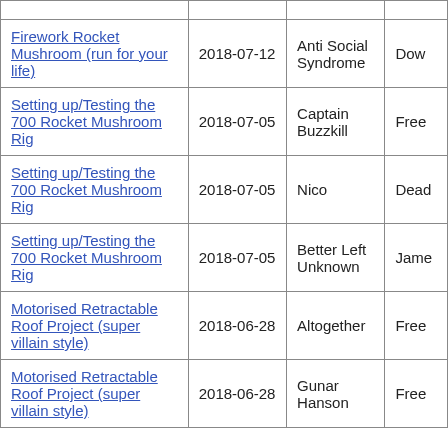| Title | Date | Name | Status |
| --- | --- | --- | --- |
| Firework Rocket Mushroom (run for your life) | 2018-07-12 | Anti Social Syndrome | Dow… |
| Setting up/Testing the 700 Rocket Mushroom Rig | 2018-07-05 | Captain Buzzkill | Free… |
| Setting up/Testing the 700 Rocket Mushroom Rig | 2018-07-05 | Nico | Dead… |
| Setting up/Testing the 700 Rocket Mushroom Rig | 2018-07-05 | Better Left Unknown | Jame… |
| Motorised Retractable Roof Project (super villain style) | 2018-06-28 | Altogether | Free… |
| Motorised Retractable Roof Project (super villain style) | 2018-06-28 | Gunar Hanson | Free… |